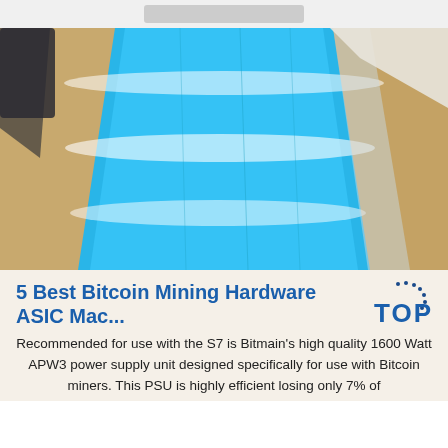[Figure (photo): A shiny blue reflective sheet or panel, possibly metallic or plastic, unwrapped from beige/brown packaging material. Bright white reflective highlights run horizontally across the blue surface. The scene appears to be in a warehouse or storage area.]
5 Best Bitcoin Mining Hardware ASIC Mac...
Recommended for use with the S7 is Bitmain's high quality 1600 Watt APW3 power supply unit designed specifically for use with Bitcoin miners. This PSU is highly efficient losing only 7% of